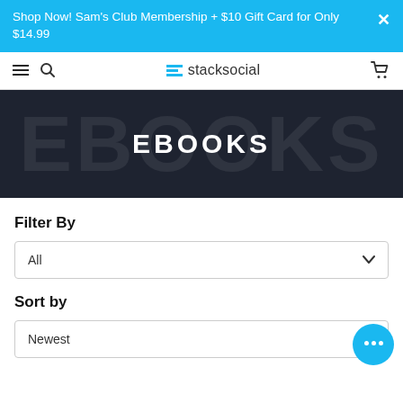Shop Now! Sam's Club Membership + $10 Gift Card for Only $14.99
stacksocial
[Figure (screenshot): StackSocial website EBOOKS category hero banner with dark background and large EBOOKS text]
Filter By
All
Sort by
Newest